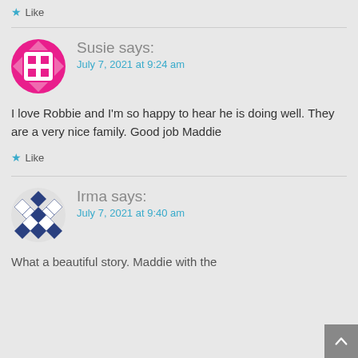★ Like
Susie says:
July 7, 2021 at 9:24 am
[Figure (illustration): Pink avatar icon with a grid/window pattern]
I love Robbie and I'm so happy to hear he is doing well. They are a very nice family. Good job Maddie
★ Like
Irma says:
July 7, 2021 at 9:40 am
[Figure (illustration): Dark blue and white diamond/checker pattern avatar icon]
What a beautiful story. Maddie with the